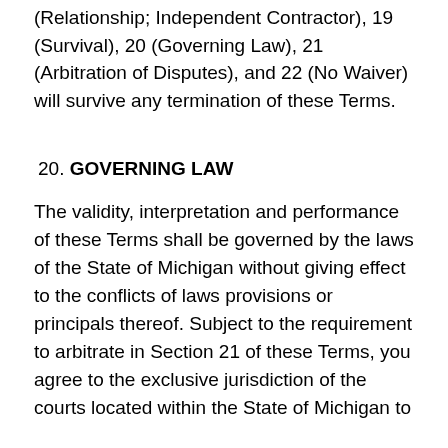(Relationship; Independent Contractor), 19 (Survival), 20 (Governing Law), 21 (Arbitration of Disputes), and 22 (No Waiver) will survive any termination of these Terms.
20. GOVERNING LAW
The validity, interpretation and performance of these Terms shall be governed by the laws of the State of Michigan without giving effect to the conflicts of laws provisions or principals thereof. Subject to the requirement to arbitrate in Section 21 of these Terms, you agree to the exclusive jurisdiction of the courts located within the State of Michigan to